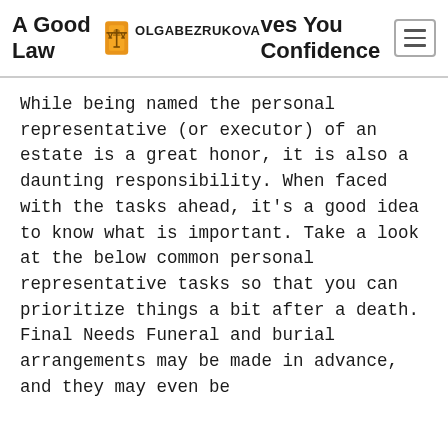A Good Law Gives You Confidence — OLGABEZRUKOVA
While being named the personal representative (or executor) of an estate is a great honor, it is also a daunting responsibility. When faced with the tasks ahead, it's a good idea to know what is important. Take a look at the below common personal representative tasks so that you can prioritize things a bit after a death. Final Needs Funeral and burial arrangements may be made in advance, and they may even be